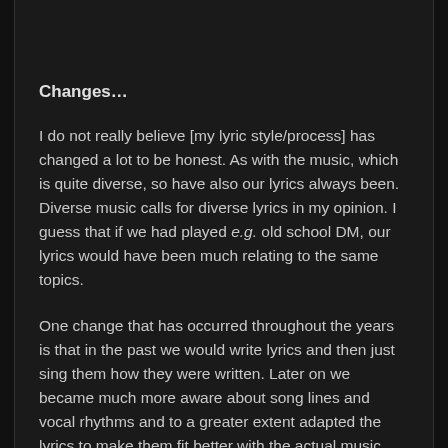Changes…
I do not really believe [my lyric style/process] has changed a lot to be honest. As with the music, which is quite diverse, so have also our lyrics always been. Diverse music calls for diverse lyrics in my opinion. I guess that if we had played e.g. old school DM, our lyrics would have been much relating to the same topics.
One change that has occurred throughout the years is that in the past we would write lyrics and then just sing them how they were written. Later on we became much more aware about song lines and vocal rhythms and to a greater extent adapted the lyrics to make them fit better with the actual music.